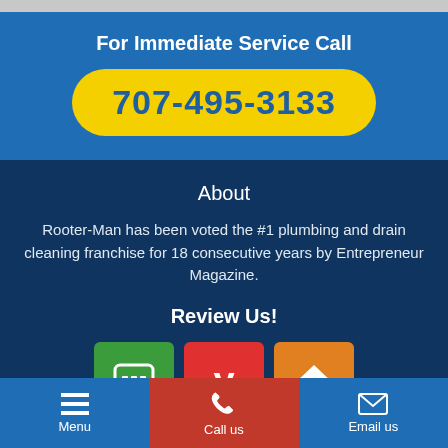For Immediate Service Call
707-495-3133
About
Rooter-Man has been voted the #1 plumbing and drain cleaning franchise for 18 consecutive years by Entrepreneur Magazine.
Review Us!
[Figure (infographic): Three review platform icons: green chat icon, red Yelp icon, orange home advisor icon]
Menu
Call us
Email us